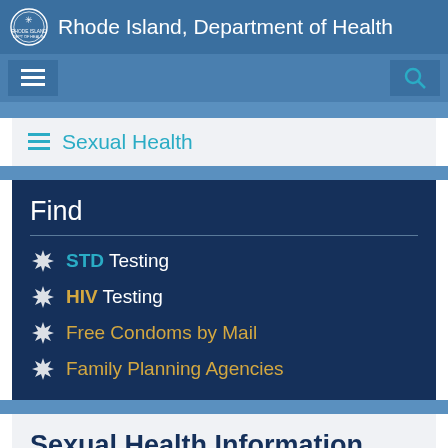Rhode Island, Department of Health
Sexual Health
Find
STD Testing
HIV Testing
Free Condoms by Mail
Family Planning Agencies
Sexual Health Information